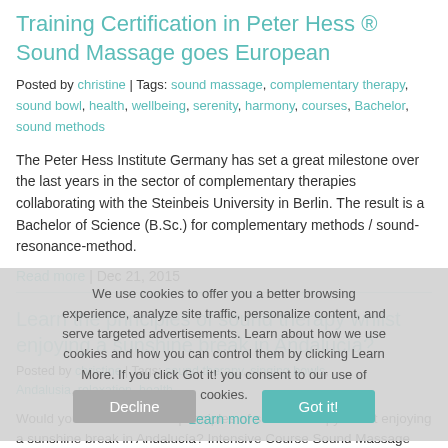Training Certification in Peter Hess ® Sound Massage goes European
Posted by christine | Tags: sound massage, complementary therapy, sound bowl, health, wellbeing, serenity, harmony, courses, Bachelor, sound methods
The Peter Hess Institute Germany has set a great milestone over the last years in the sector of complementary therapies collaborating with the Steinbeis University in Berlin. The result is a Bachelor of Science (B.Sc.) for complementary methods / sound-resonance-method.
Read more | Dec 21, 2015
We use cookies to offer you a better browsing experience, analyze site traffic, personalize content, and serve targeted advertisements. Learn about how we use cookies and how you can control them by clicking Learn More. If you click Got it! you consent to our use of cookies.
Learn more
Learn the principles of sound therapy whilst enjoying a sunshine break in Andalucía?
Posted by christine | Tags: sound therapy, singing bowls, Andalusia, relaxation, health
Would you like to learn the principles of sound therapy whilst enjoying a sunshine break in Andalucía? Intensive Course Sound Massage Peter Hess ® – in Andalucía from August 30 to September 05, 2015
Read more | Jul 16, 2015